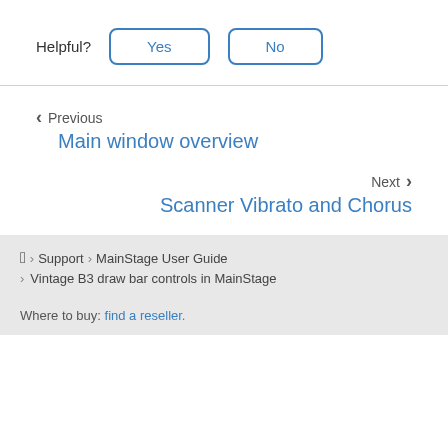Helpful? Yes No
Previous
Main window overview
Next
Scanner Vibrato and Chorus
Support > MainStage User Guide > Vintage B3 draw bar controls in MainStage
Where to buy: find a reseller.